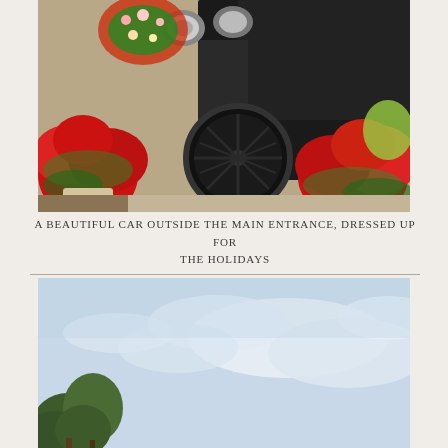[Figure (photo): A vintage black automobile decorated with Christmas flowers and ornaments, surrounded by red poinsettia plants, photographed outside a main entrance on a paved surface.]
A BEAUTIFUL CAR OUTSIDE THE MAIN ENTRANCE, DRESSED UP FOR THE HOLIDAYS
[Figure (photo): Outdoor scene with a pale blue sky partially covered with light clouds, and trees visible at the lower left corner.]